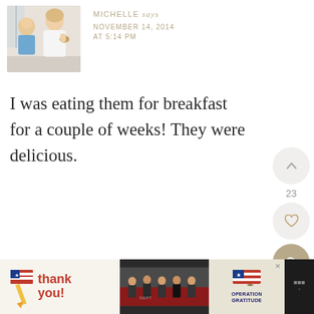[Figure (photo): Profile photo of Michelle, a woman in a white blouse holding food, with a child in a plaid shirt beside her, in a bright indoor setting]
MICHELLE says
NOVEMBER 14, 2014
AT 5:14 PM
I was eating them for breakfast for a couple of weeks! They were delicious.
Reply
[Figure (infographic): Ad banner: 'Thank you!' text with Operation Gratitude logo and firefighters photo]